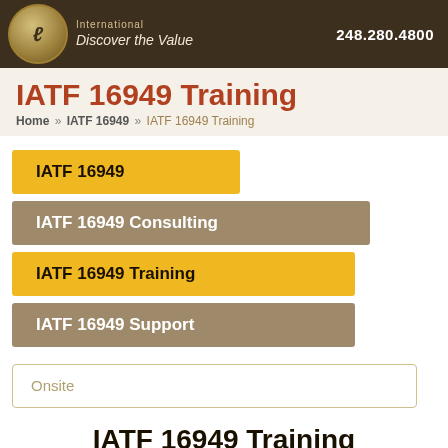International Discover the Value | 248.280.4800
IATF 16949 Training
Home » IATF 16949 » IATF 16949 Training
IATF 16949
IATF 16949 Consulting
IATF 16949 Training
IATF 16949 Support
Onsite
IATF 16949 Training